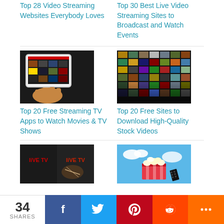Top 28 Video Streaming Websites Everybody Loves
Top 30 Best Live Video Streaming Sites to Broadcast and Watch Events
[Figure (photo): Person holding a tablet showing a video streaming app with movie thumbnails]
Top 20 Free Streaming TV Apps to Watch Movies & TV Shows
[Figure (photo): Grid mosaic of many video thumbnail images arranged in a collage]
Top 20 Free Sites to Download High-Quality Stock Videos
[Figure (photo): Dark promotional image showing LIVE TV branding with football]
[Figure (photo): Popcorn bucket with film strip against blue sky background]
34 SHARES
[Figure (infographic): Social sharing bar with Facebook, Twitter, Pinterest, Reddit, and More buttons]